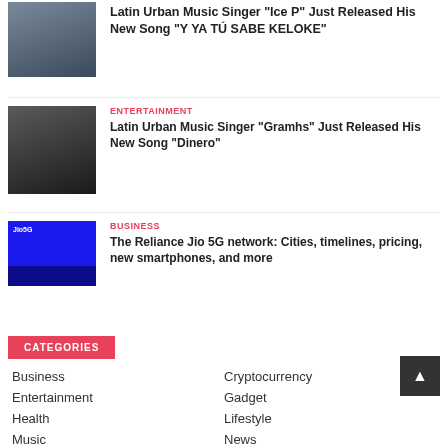[Figure (photo): Photo of Latin Urban Music Singer Ice P]
Latin Urban Music Singer "Ice P" Just Released His New Song "Y YA TÚ SABE KELOKE"
ENTERTAINMENT
[Figure (photo): Photo of Latin Urban Music Singer Gramhs wearing white hoodie]
Latin Urban Music Singer "Gramhs" Just Released His New Song "Dinero"
BUSINESS
[Figure (photo): Jio 5G promotional image with blue background]
The Reliance Jio 5G network: Cities, timelines, pricing, new smartphones, and more
CATEGORIES
Business
Cryptocurrency
Entertainment
Gadget
Health
Lifestyle
Music
News